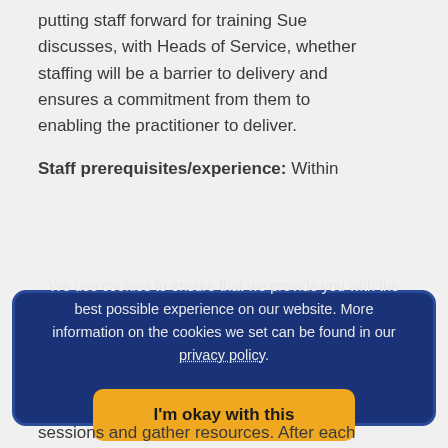putting staff forward for training Sue discusses, with Heads of Service, whether staffing will be a barrier to delivery and ensures a commitment from them to enabling the practitioner to deliver.
Staff prerequisites/experience: Within
We use cookies to ensure that we provide you with the best possible experience on our website. More information on the cookies we set can be found in our privacy policy.
I'm okay with this
sessions and gather resources. After each